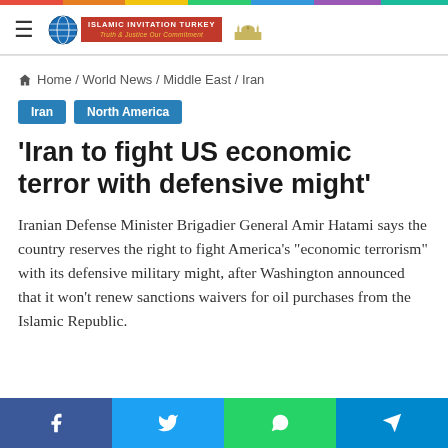Islamic Invitation Turkey - Home / World News / Middle East / Iran
Home / World News / Middle East / Iran
Iran
North America
'Iran to fight US economic terror with defensive might'
Iranian Defense Minister Brigadier General Amir Hatami says the country reserves the right to fight America's "economic terrorism" with its defensive military might, after Washington announced that it won't renew sanctions waivers for oil purchases from the Islamic Republic.